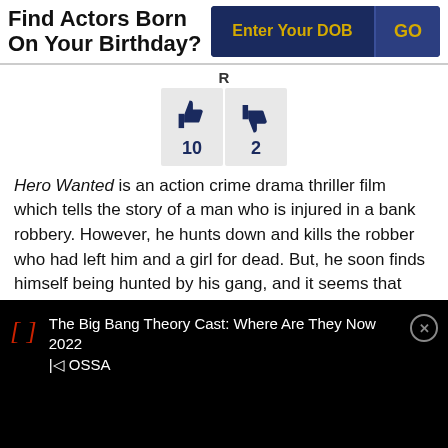Find Actors Born On Your Birthday?
[Figure (other): Thumbs up icon with count 10 and thumbs down icon with count 2, rating widget with letter R above]
Hero Wanted is an action crime drama thriller film which tells the story of a man who is injured in a bank robbery. However, he hunts down and kills the robber who had left him and a girl for dead. But, he soon finds himself being hunted by his gang, and it seems that they will not stop until they have avenged their man.
As: Cast
[Figure (screenshot): Video overlay bar showing 'The Big Bang Theory Cast: Where Are They Now 2022 | OSSA' with red bracket icon and close button]